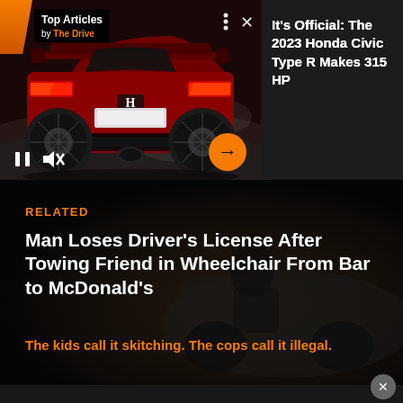[Figure (screenshot): Red Honda Civic Type R car shown from rear three-quarter view on a dark track background, with video player controls visible]
It's Official: The 2023 Honda Civic Type R Makes 315 HP
RELATED
Man Loses Driver's License After Towing Friend in Wheelchair From Bar to McDonald's
The kids call it skitching. The cops call it illegal.
[Figure (photo): Dark background preview of next article with a close button]